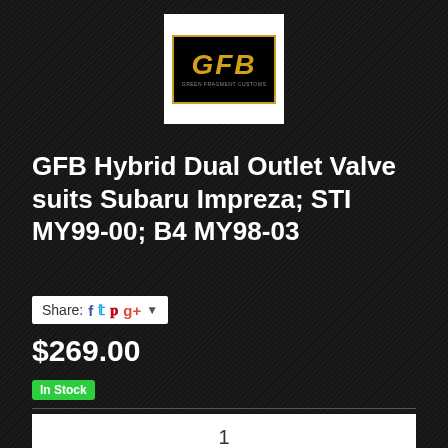[Figure (logo): GFB (Go Fast Bits) logo — white square background with black rectangle containing gold/yellow italic 'GFB' text and small subtitle text]
GFB Hybrid Dual Outlet Valve suits Subaru Impreza; STI MY99-00; B4 MY98-03
Share: [Facebook] [Twitter] [Pinterest] [Google+] ▼
$269.00
In Stock
1
Add to Cart